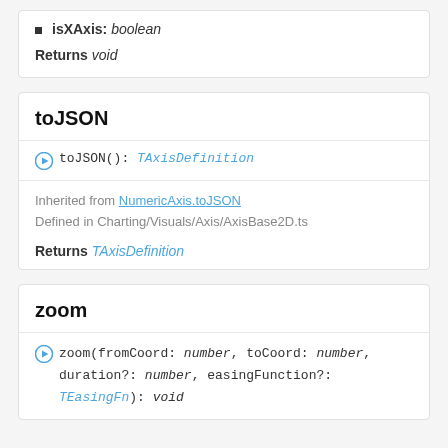isXAxis: boolean
Returns void
toJSON
toJSON(): TAxisDefinition
Inherited from NumericAxis.toJSON
Defined in Charting/Visuals/Axis/AxisBase2D.ts
Returns TAxisDefinition
zoom
zoom(fromCoord: number, toCoord: number, duration?: number, easingFunction?: TEasingFn): void